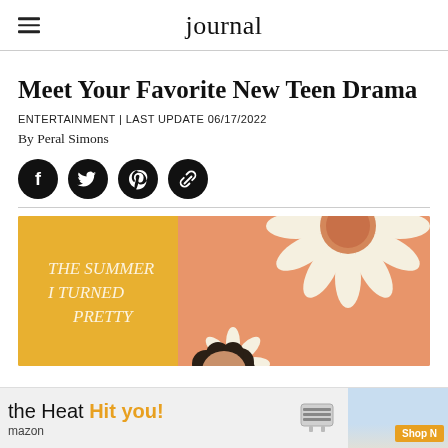journal
Meet Your Favorite New Teen Drama
ENTERTAINMENT | LAST UPDATE 06/17/2022
By Peral Simons
[Figure (other): Social share icons: Facebook, Twitter, Pinterest, and link icons as white symbols on black circular backgrounds]
[Figure (photo): Promotional image for 'The Summer I Turned Pretty' TV show — warm orange/peach background with daisy flowers and a person with dark curly hair visible at the bottom center]
[Figure (other): Advertisement banner: 'the Heat Hit you!' with Amazon branding, an air conditioner unit image, and a Shop Now button]